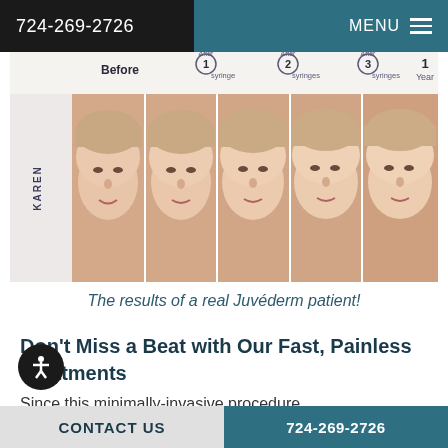724-269-2726  MENU
[Figure (photo): Before and after comparison photos of a Juvéderm patient named Karen. Five panels labeled: Before, After 1 syringe, After 2 syringes, After 3 syringes, 1 Year. Shows progressive facial volume improvement.]
The results of a real Juvéderm patient!
Don't Miss a Beat with Our Fast, Painless Treatments
Since this minimally-invasive procedure requires no anesthesia, it is over in a snap. In fact, there are also no significant...
CONTACT US  724-269-2726